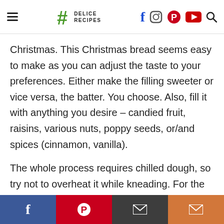Delice Recipes — navigation header with hamburger menu, logo, and social icons (Facebook, Instagram, Pinterest, YouTube, Search)
Christmas. This Christmas bread seems easy to make as you can adjust the taste to your preferences. Either make the filling sweeter or vice versa, the batter. You choose. Also, fill it with anything you desire – candied fruit, raisins, various nuts, poppy seeds, or/and spices (cinnamon, vanilla).
The whole process requires chilled dough, so try not to overheat it while kneading. For the beginning, I advise you to freeze the egg for 10 –
Social share bar: Facebook, Pinterest, Email, Email